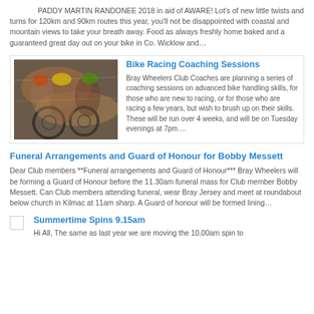PADDY MARTIN RANDONEE 2018 in aid of AWARE! Lot's of new little twists and turns for 120km and 90km routes this year, you'll not be disappointed with coastal and mountain views to take your breath away. Food as always freshly home baked and a guaranteed great day out on your bike in Co. Wicklow and…
[Figure (photo): Blurred action photo of cyclists racing]
Bike Racing Coaching Sessions
Bray Wheelers Club Coaches are planning a series of coaching sessions on advanced bike handling skills, for those who are new to racing, or for those who are racing a few years, but wish to brush up on their skills. These will be run over 4 weeks, and will be on Tuesday evenings at 7pm….
Funeral Arrangements and Guard of Honour for Bobby Messett
Dear Club members **Funeral arrangements and Guard of Honour*** Bray Wheelers will be forming a Guard of Honour before the 11.30am funeral mass for Club member Bobby Messett. Can Club members attending funeral, wear Bray Jersey and meet at roundabout below church in Kilmac at 11am sharp. A Guard of honour will be formed lining…
Summertime Spins 9.15am
Hi All, The same as last year we are moving the 10.00am spin to